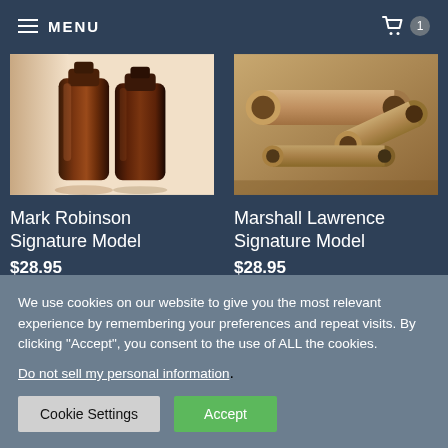☰ MENU | Cart: 1
[Figure (photo): Two amber/brown glass bottles on a light background]
Mark Robinson Signature Model
$28.95
[Figure (photo): Three cardboard/kraft paper tubes on a brown surface]
Marshall Lawrence Signature Model
$28.95
We use cookies on our website to give you the most relevant experience by remembering your preferences and repeat visits. By clicking "Accept", you consent to the use of ALL the cookies.
Do not sell my personal information.
Cookie Settings | Accept